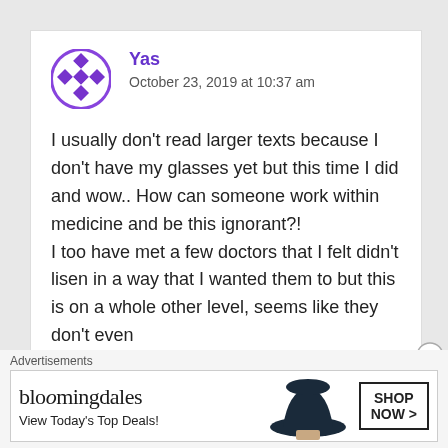Yas
October 23, 2019 at 10:37 am
I usually don't read larger texts because I don't have my glasses yet but this time I did and wow.. How can someone work within medicine and be this ignorant?!
I too have met a few doctors that I felt didn't lisen in a way that I wanted them to but this is on a whole other level, seems like they don't even
Advertisements
[Figure (screenshot): Bloomingdale's advertisement banner with text 'View Today's Top Deals!' and 'SHOP NOW >' button, featuring a woman in a wide-brim hat]